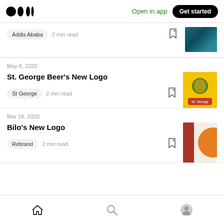Medium logo | Open in app | Get started
Addis Ababa · 2 min read — [partial article, image cropped]
May 8, 2020
St. George Beer's New Logo
St George · 2 min read
Mar 18, 2020
Bilo's New Logo
Rebrand · 2 min read
Home | Search | Profile